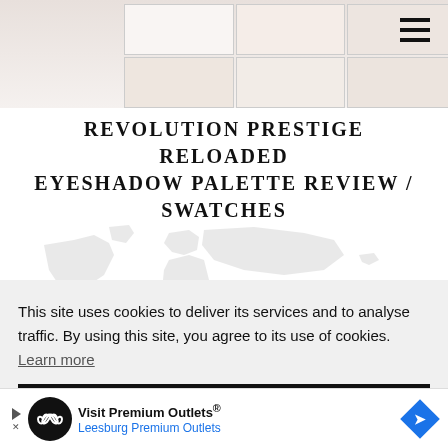[Figure (photo): Eyeshadow palette swatches in pastel/nude tones arranged in a grid, partially visible at the top of the page, with a hamburger menu icon in the top right corner.]
REVOLUTION PRESTIGE RELOADED EYESHADOW PALETTE REVIEW / SWATCHES
[Figure (illustration): Light grey world map watermark/silhouette used as background decoration on the website.]
This site uses cookies to deliver its services and to analyse traffic. By using this site, you agree to its use of cookies.  Learn more
OK
[Figure (screenshot): Advertisement banner for Visit Premium Outlets® — Leesburg Premium Outlets, with a circular logo, play button, and blue diamond-shaped icon.]